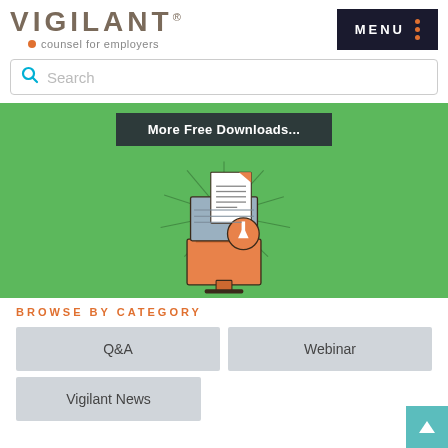[Figure (logo): Vigilant logo with 'counsel for employers' tagline and orange dot]
[Figure (screenshot): Dark navigation menu button with orange dots]
[Figure (screenshot): Search bar with teal search icon and placeholder text]
[Figure (illustration): Green banner with 'More Free Downloads...' button and computer/document download illustration]
BROWSE BY CATEGORY
Q&A
Webinar
Vigilant News